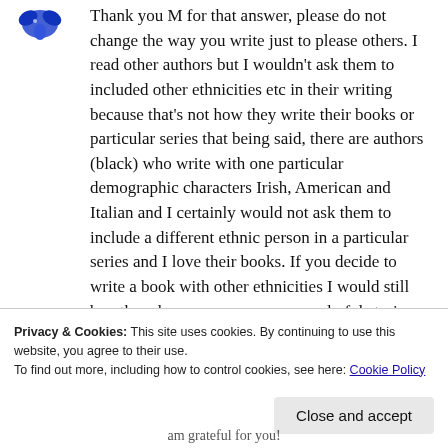[Figure (illustration): Small blue decorative bird/butterfly icon in the top left corner]
Thank you M for that answer, please do not change the way you write just to please others. I read other authors but I wouldn't ask them to included other ethnicities etc in their writing because that's not how they write their books or particular series that being said, there are authors (black) who write with one particular demographic characters Irish, American and Italian and I certainly would not ask them to include a different ethnic person in a particular series and I love their books. If you decide to write a book with other ethnicities I would still buy them because you weave wonderful stories that keep me hounding your page for the next
Privacy & Cookies: This site uses cookies. By continuing to use this website, you agree to their use. To find out more, including how to control cookies, see here: Cookie Policy
am grateful for you!